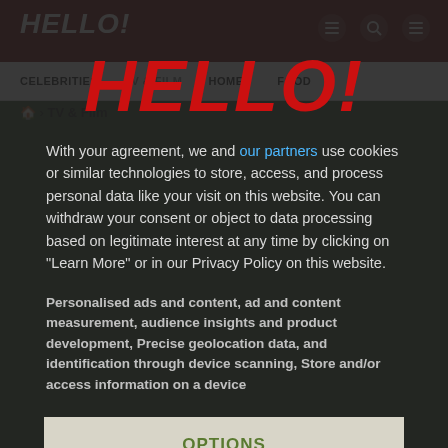HELLO!
[Figure (screenshot): HELLO! magazine website screenshot showing navigation bar with CELEBRITIES, TV & Film, HOMES, FOOD nav items and a breadcrumb Home > TV & Film]
[Figure (logo): HELLO! magazine logo in large red bold italic text displayed in cookie consent modal]
With your agreement, we and our partners use cookies or similar technologies to store, access, and process personal data like your visit on this website. You can withdraw your consent or object to data processing based on legitimate interest at any time by clicking on "Learn More" or in our Privacy Policy on this website.
Personalised ads and content, ad and content measurement, audience insights and product development, Precise geolocation data, and identification through device scanning, Store and/or access information on a device
OPTIONS
I AGREE